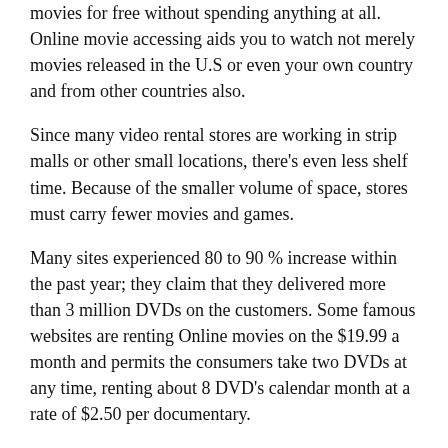movies for free without spending anything at all. Online movie accessing aids you to watch not merely movies released in the U.S or even your own country and from other countries also.
Since many video rental stores are working in strip malls or other small locations, there's even less shelf time. Because of the smaller volume of space, stores must carry fewer movies and games.
Many sites experienced 80 to 90 % increase within the past year; they claim that they delivered more than 3 million DVDs on the customers. Some famous websites are renting Online movies on the $19.99 a month and permits the consumers take two DVDs at any time, renting about 8 DVD's calendar month at a rate of $2.50 per documentary.